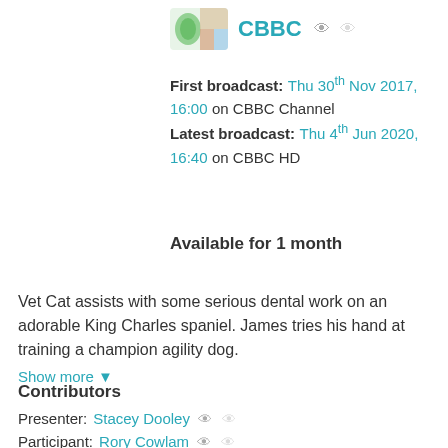[Figure (logo): CBBC channel logo thumbnail with coloured shapes]
CBBC
First broadcast: Thu 30th Nov 2017, 16:00 on CBBC Channel
Latest broadcast: Thu 4th Jun 2020, 16:40 on CBBC HD
Available for 1 month
Vet Cat assists with some serious dental work on an adorable King Charles spaniel. James tries his hand at training a champion agility dog.
Show more
Contributors
Presenter: Stacey Dooley
Participant: Rory Cowlam